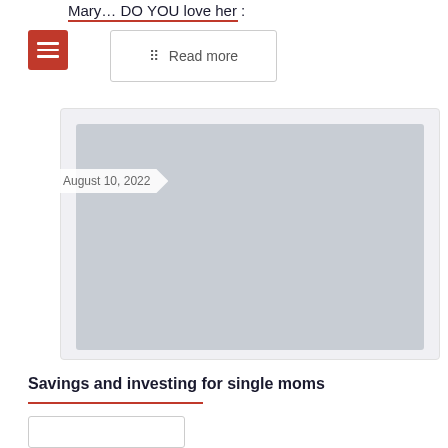Mary… DO YOU love her :
[Figure (other): Placeholder gray rectangle image card with a date label 'August 10, 2022']
Savings and investing for single moms